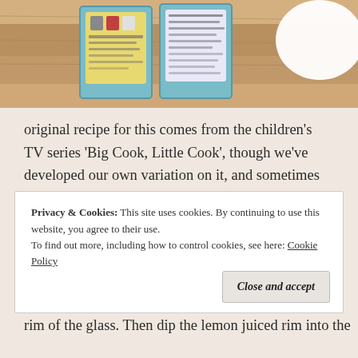[Figure (photo): Photo of two children's recipe cards with blue borders on a wooden surface, with a white plate visible on the right side.]
original recipe for this comes from the children's TV series 'Big Cook, Little Cook', though we've developed our own variation on it, and sometimes add something extra depending on what we happen to have at home at the time. So please feel free to use your own or your child's personal favourite ingredients when making this:
Privacy & Cookies: This site uses cookies. By continuing to use this website, you agree to their use.
To find out more, including how to control cookies, see here: Cookie Policy
rim of the glass. Then dip the lemon juiced rim into the